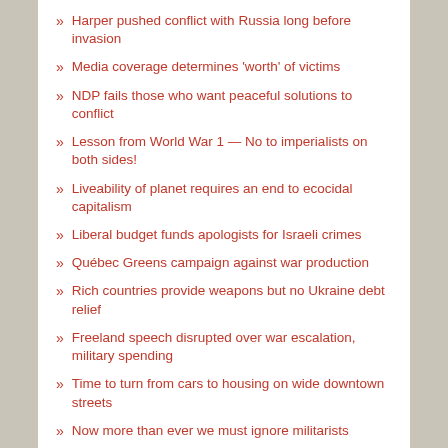Harper pushed conflict with Russia long before invasion
Media coverage determines 'worth' of victims
NDP fails those who want peaceful solutions to conflict
Lesson from World War 1 — No to imperialists on both sides!
Liveability of planet requires an end to ecocidal capitalism
Liberal budget funds apologists for Israeli crimes
Québec Greens campaign against war production
Rich countries provide weapons but no Ukraine debt relief
Freeland speech disrupted over war escalation, military spending
Time to turn from cars to housing on wide downtown streets
Now more than ever we must ignore militarists